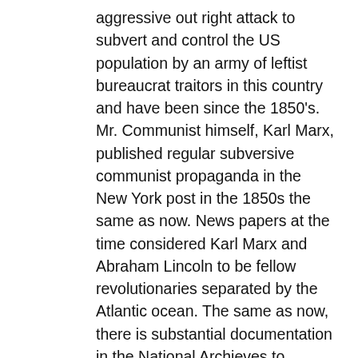aggressive out right attack to subvert and control the US population by an army of leftist bureaucrat traitors in this country and have been since the 1850's. Mr. Communist himself, Karl Marx, published regular subversive communist propaganda in the New York post in the 1850s the same as now. News papers at the time considered Karl Marx and Abraham Lincoln to be fellow revolutionaries separated by the Atlantic ocean. The same as now, there is substantial documentation in the National Archieves to conclude that Lincoln was a homosexual. A woman in D.C. noted that he trolled the Army camps in Washington, picked up, and slept with younger soldiers. Everyone should read